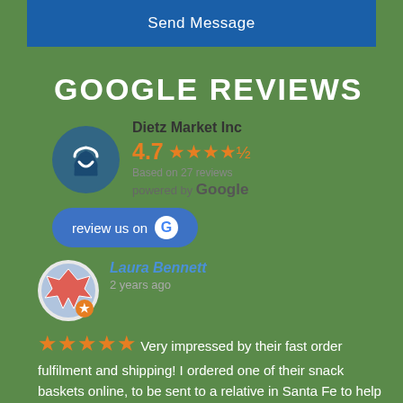Send Message
GOOGLE REVIEWS
Dietz Market Inc
4.7 ★★★★½
Based on 27 reviews
powered by Google
review us on G
Laura Bennett
2 years ago
★★★★★  Very impressed by their fast order fulfilment and shipping! I ordered one of their snack baskets online, to be sent to a relative in Santa Fe to help him have enough food during Shelter-In-Place.